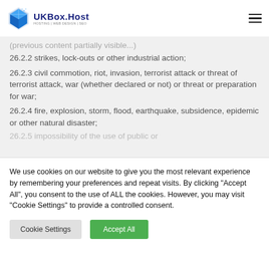UKBox.Host — HOSTING | WEB DESIGN | SEO
(partial/faded line above)
26.2.2 strikes, lock-outs or other industrial action;
26.2.3 civil commotion, riot, invasion, terrorist attack or threat of terrorist attack, war (whether declared or not) or threat or preparation for war;
26.2.4 fire, explosion, storm, flood, earthquake, subsidence, epidemic or other natural disaster;
26.2.5 impossibility of the use of public or (faded/cut off)
We use cookies on our website to give you the most relevant experience by remembering your preferences and repeat visits. By clicking "Accept All", you consent to the use of ALL the cookies. However, you may visit "Cookie Settings" to provide a controlled consent.